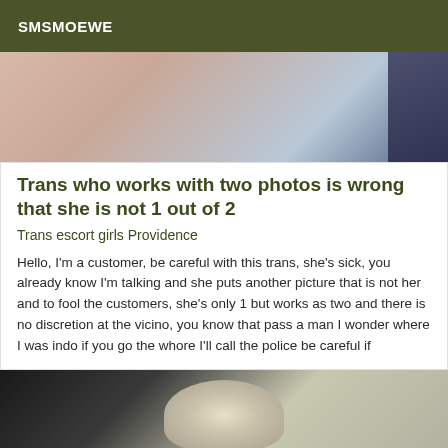SMSMOEWE
[Figure (photo): Partial photo showing skin/fabric tones in pink and beige, with dark blue/navy on the right edge]
Trans who works with two photos is wrong that she is not 1 out of 2
Trans escort girls Providence
Hello, I'm a customer, be careful with this trans, she's sick, you already know I'm talking and she puts another picture that is not her and to fool the customers, she's only 1 but works as two and there is no discretion at the vicino, you know that pass a man I wonder where I was indo if you go the whore I'll call the police be careful if
[Figure (photo): Photo showing back of a person with light/blonde hair, dark background on left, textured surface on right]